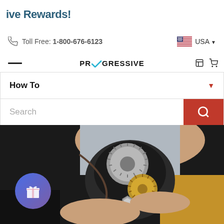ive Rewards!
Toll Free: 1-800-676-6123
USA
PROGRESSIVE
How To
Search
[Figure (photo): Close-up photo of hands holding an open mechanical device showing internal gears — a large silver gear and a gold/brass colored gear — inside a black housing. A circular silver component and nuts/bolts are also visible.]